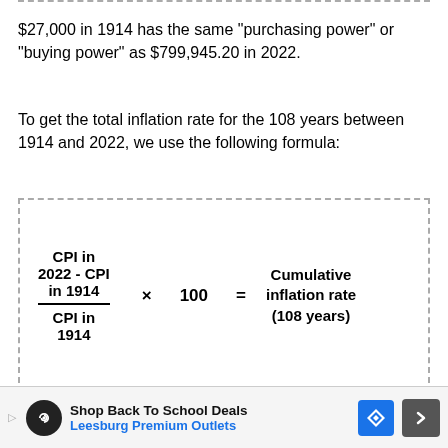$27,000 in 1914 has the same "purchasing power" or "buying power" as $799,945.20 in 2022.
To get the total inflation rate for the 108 years between 1914 and 2022, we use the following formula:
Plugging in the values to this equation, we get: